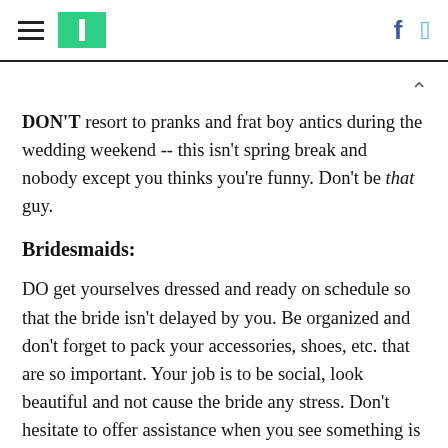[HuffPost navigation header with hamburger menu, logo, Facebook and Twitter icons]
DON'T resort to pranks and frat boy antics during the wedding weekend -- this isn't spring break and nobody except you thinks you're funny. Don't be that guy.
Bridesmaids:
DO get yourselves dressed and ready on schedule so that the bride isn't delayed by you. Be organized and don't forget to pack your accessories, shoes, etc. that are so important. Your job is to be social, look beautiful and not cause the bride any stress. Don't hesitate to offer assistance when you see something is